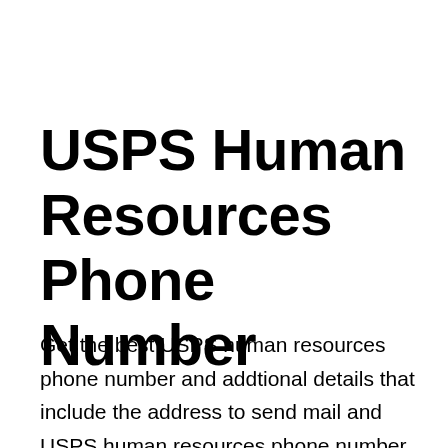USPS Human Resources Phone Number
Get the best USPS human resources phone number and addtional details that include the address to send mail and USPS human resources phone number you can reach out during usual working hours. USPS Human